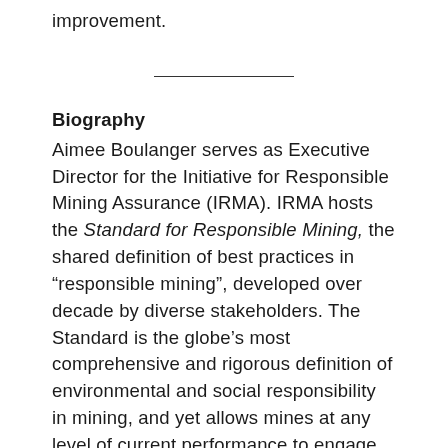improvement.
Biography
Aimee Boulanger serves as Executive Director for the Initiative for Responsible Mining Assurance (IRMA). IRMA hosts the Standard for Responsible Mining, the shared definition of best practices in “responsible mining”, developed over decade by diverse stakeholders. The Standard is the globe’s most comprehensive and rigorous definition of environmental and social responsibility in mining, and yet allows mines at any level of current performance to engage and show improvement over time. IRMA